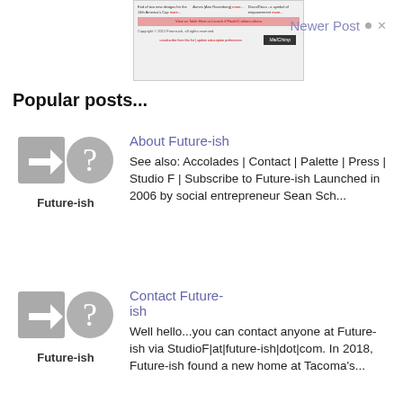[Figure (screenshot): Screenshot of a newsletter email with rows of content, a pink bar, copyright notice, MailChimp button, and unsubscribe link]
Newer Post
Popular posts...
[Figure (illustration): Future-ish thumbnail icon with arrow and question mark, labeled Future-ish]
About Future-ish
See also: Accolades | Contact | Palette | Press | Studio F | Subscribe to Future-ish Launched in 2006 by social entrepreneur Sean Sch...
[Figure (illustration): Future-ish thumbnail icon with arrow and question mark, labeled Future-ish]
Contact Future-ish
Well hello...you can contact anyone at Future-ish via StudioF|at|future-ish|dot|com. In 2018, Future-ish found a new home at Tacoma's...